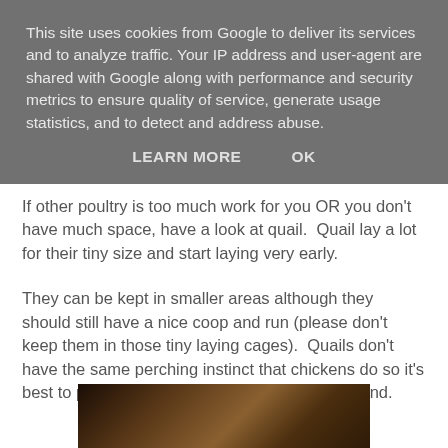This site uses cookies from Google to deliver its services and to analyze traffic. Your IP address and user-agent are shared with Google along with performance and security metrics to ensure quality of service, generate usage statistics, and to detect and address abuse.
LEARN MORE    OK
If other poultry is too much work for you OR you don't have much space, have a look at quail.  Quail lay a lot for their tiny size and start laying very early.
They can be kept in smaller areas although they should still have a nice coop and run (please don't keep them in those tiny laying cages).  Quails don't have the same perching instinct that chickens do so it's best to put them into the coop every night by hand.
[Figure (photo): Partial view of a photo at the bottom of the page, showing what appears to be poultry or quail, dark brown tones]